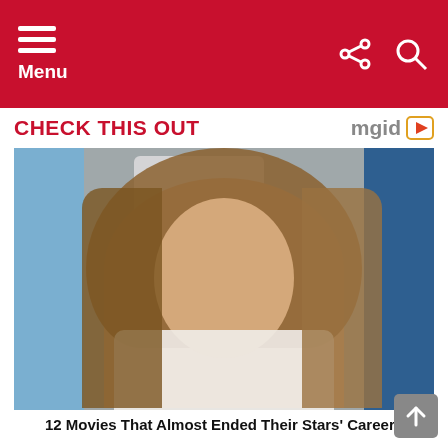Menu
CHECK THIS OUT
[Figure (photo): A woman with long blonde-brown hair wearing a white lace outfit posing at what appears to be a movie premiere, with blue and white decorative letters visible in the background.]
12 Movies That Almost Ended Their Stars' Careers